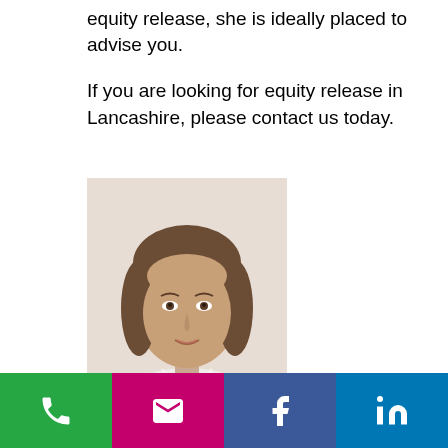equity release, she is ideally placed to advise you.

If you are looking for equity release in Lancashire, please contact us today.
[Figure (photo): Headshot photo of a middle-aged woman with brown shoulder-length hair, wearing a white collared shirt, against a light background.]
[Figure (infographic): Footer navigation bar with four colored buttons: green phone icon, pink/magenta email envelope icon, dark blue Facebook 'f' icon, blue LinkedIn 'in' icon.]